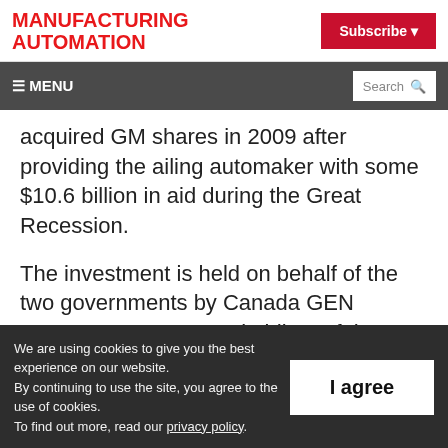MANUFACTURING AUTOMATION
Subscribe
≡ MENU  Search
acquired GM shares in 2009 after providing the ailing automaker with some $10.6 billion in aid during the Great Recession.
The investment is held on behalf of the two governments by Canada GEN Investment Corp., a subsidiary of the Canada Development
We are using cookies to give you the best experience on our website. By continuing to use the site, you agree to the use of cookies. To find out more, read our privacy policy.